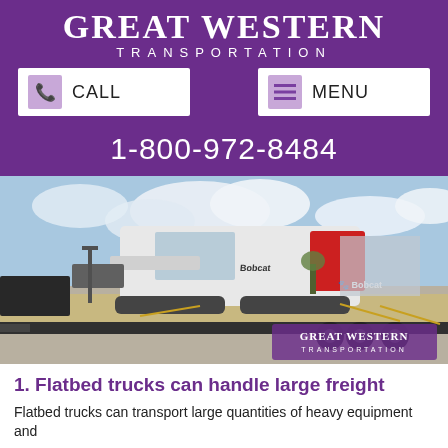GREAT WESTERN TRANSPORTATION
CALL   MENU
1-800-972-8484
[Figure (photo): A white Bobcat tracked skid-steer loader secured with chains on a flatbed trailer, parked in a paved lot with a building and trees in the background. Great Western Transportation watermark in lower right corner.]
1. Flatbed trucks can handle large freight
Flatbed trucks can transport large quantities of heavy equipment and